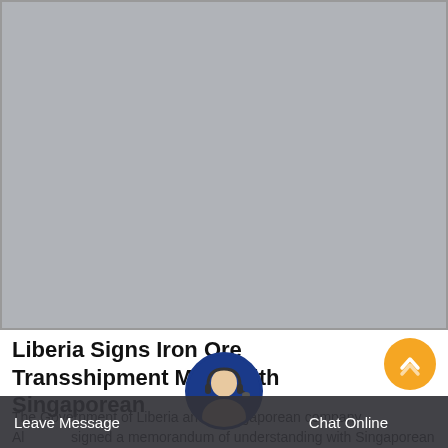[Figure (photo): Large grey placeholder image occupying the top portion of the page]
Liberia Signs Iron Ore Transshipment MOU With Singaporean
The Government of Liberia and a Singaporean company Al signed a memorandum of understanding with Singaporean company Al...